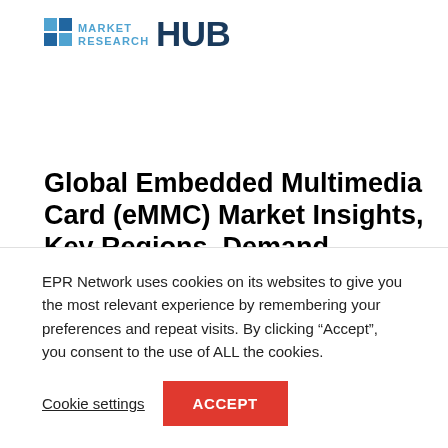[Figure (logo): Market Research Hub logo — small blue/dark blue grid squares on the left, text 'MARKET RESEARCH' in small caps followed by large bold 'HUB' in dark blue]
Global Embedded Multimedia Card (eMMC) Market Insights, Key Regions, Demand, Application, Overview Future and Forecast 2025
EPR Network uses cookies on its websites to give you the most relevant experience by remembering your preferences and repeat visits. By clicking “Accept”, you consent to the use of ALL the cookies.
Cookie settings  ACCEPT